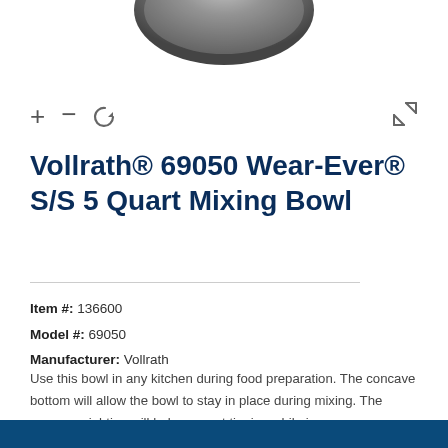[Figure (photo): Bottom portion of a stainless steel mixing bowl viewed from above, showing the rounded dark rim against white background]
[Figure (screenshot): Image viewer controls: plus (+), minus (−), and rotate icons on left; expand/fullscreen icon on right]
Vollrath® 69050 Wear-Ever® S/S 5 Quart Mixing Bowl
Item #: 136600
Model #: 69050
Manufacturer: Vollrath
Use this bowl in any kitchen during food preparation. The concave bottom will allow the bowl to stay in place during mixing. The proper weighting will help prevent tipping while in use.